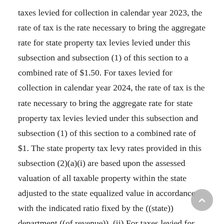taxes levied for collection in calendar year 2023, the rate of tax is the rate necessary to bring the aggregate rate for state property tax levies levied under this subsection and subsection (1) of this section to a combined rate of $1.50. For taxes levied for collection in calendar year 2024, the rate of tax is the rate necessary to bring the aggregate rate for state property tax levies levied under this subsection and subsection (1) of this section to a combined rate of $1. The state property tax levy rates provided in this subsection (2)(a)(i) are based upon the assessed valuation of all taxable property within the state adjusted to the state equalized value in accordance with the indicated ratio fixed by the ((state)) department ((of revenue)). (ii) For taxes levied for collection in calendar year ((2022)) 2025 and thereafter, the tax authorized under this subsection (2) is subject to the limitations of chapter 84.55 RCW. (b)(i) Except as otherwise